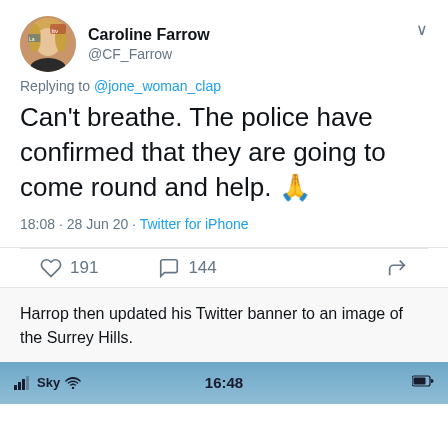[Figure (screenshot): Tweet from Caroline Farrow (@CF_Farrow) with circular profile photo, replying to @jone_woman_clap. Tweet text: Can't breathe. The police have confirmed that they are going to come round and help. 🙏 Timestamp: 18:08 · 28 Jun 20 · Twitter for iPhone. Like count: 191, Reply count: 144.]
Harrop then updated his Twitter banner to an image of the Surrey Hills.
[Figure (screenshot): Phone status bar showing Sky network, WiFi icon, time 16:48, and battery indicator.]